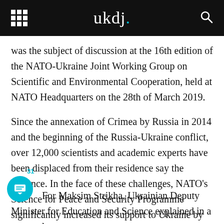ukdj.
was the subject of discussion at the 16th edition of the NATO-Ukraine Joint Working Group on Scientific and Environmental Cooperation, held at NATO Headquarters on the 28th of March 2019.
Since the annexation of Crimea by Russia in 2014 and the beginning of the Russia-Ukraine conflict, over 12,000 scientists and academic experts have been displaced from their residence say the Alliance. In the face of these challenges, NATO's Science for Peace and Security Programme significantly increased its support to Ukraine by providing equipment and stipends to young scientists.
For Maksim Strikha, Ukrainian Deputy Minister for Education and Science explained in a news release: